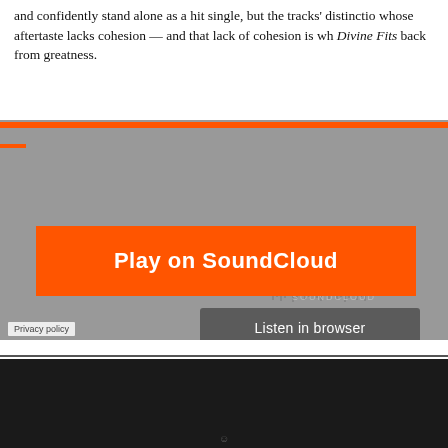and confidently stand alone as a hit single, but the tracks' distinction whose aftertaste lacks cohesion — and that lack of cohesion is wh Divine Fits back from greatness.
[Figure (screenshot): SoundCloud embedded player widget with orange play button labeled 'Play on SoundCloud', a gray 'Listen in browser' button, waveform graphic, and Privacy policy link]
DISCOVERY  ALBUMS  SHOWS  PHOTOS  FEATURES  ABOUT US  THE NEST